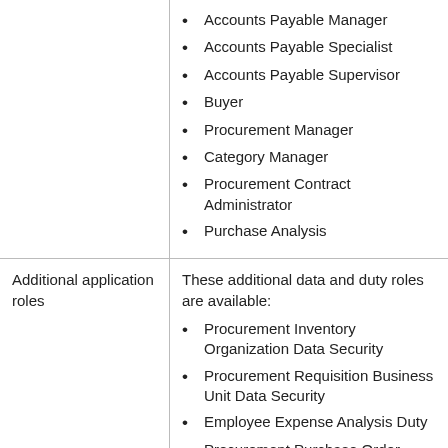Accounts Payable Manager
Accounts Payable Specialist
Accounts Payable Supervisor
Buyer
Procurement Manager
Category Manager
Procurement Contract Administrator
Purchase Analysis
Additional application roles
These additional data and duty roles are available:
Procurement Inventory Organization Data Security
Procurement Requisition Business Unit Data Security
Employee Expense Analysis Duty
Procurement Purchase Order Analysis Duty
Procurement Purchase Agreement Analysis Duty